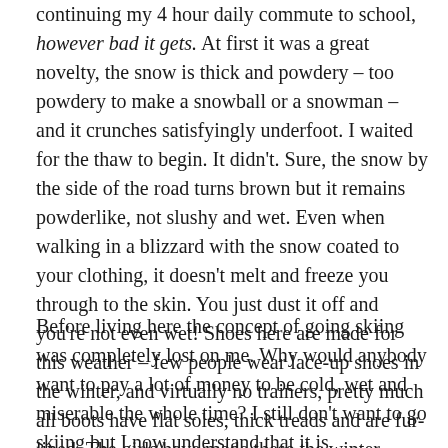continuing my 4 hour daily commute to school, however bad it gets. At first it was a great novelty, the snow is thick and powdery – too powdery to make a snowball or a snowman – and it crunches satisfyingly underfoot. I waited for the thaw to begin. It didn't. Sure, the snow by the side of the road turns brown but it remains powderlike, not slushy and wet. Even when walking in a blizzard with the snow coated to your clothing, it doesn't melt and freeze you through to the skin. You just dust it off and you're not even wet! Shoes here are made for this weather – few people wear lace-up shoes in the winter, and virtually no trainers, pretty much all boots have flat soles, thick treads and are fur-lined. The girls have made these the winter fashion rather than conforming to fashion that doesn't suit the weather.
Before living here the concept of going skiing was completely lost on me. Why would anybody want to pay a lot of money to be cold, wet and miserable the whole time? I still don't want to go skiing but I now understand that it is